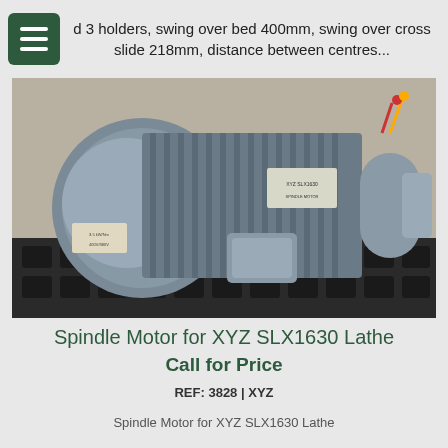d 3 holders, swing over bed 400mm, swing over cross slide 218mm, distance between centres...
[Figure (photo): Industrial spindle motor (grey electric motor) sitting on a black plastic pallet, with cooling fins visible and a junction box on the side]
Spindle Motor for XYZ SLX1630 Lathe
Call for Price
REF: 3828 | XYZ
Spindle Motor for XYZ SLX1630 Lathe